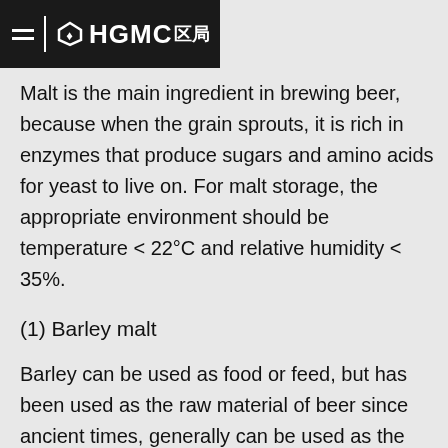HGMC
Malt is the main ingredient in brewing beer, because when the grain sprouts, it is rich in enzymes that produce sugars and amino acids for yeast to live on. For malt storage, the appropriate environment should be temperature < 22°C and relative humidity < 35%.
(1) Barley malt
Barley can be used as food or feed, but has been used as the raw material of beer since ancient times, generally can be used as the main raw material of beer brewing after the wheat making process, in China's newly